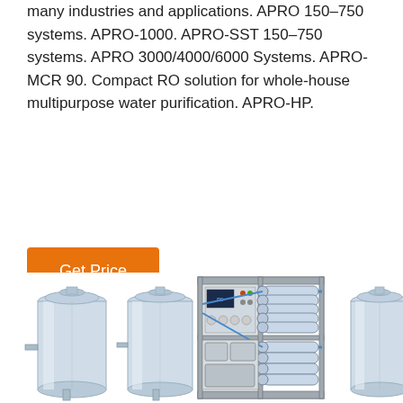many industries and applications. APRO 150–750 systems. APRO-1000. APRO-SST 150–750 systems. APRO 3000/4000/6000 Systems. APRO-MCR 90. Compact RO solution for whole-house multipurpose water purification. APRO-HP.
Get Price
[Figure (photo): Row of industrial stainless steel tanks and a reverse osmosis water purification system with blue piping and control panel, partially cropped at bottom of page.]